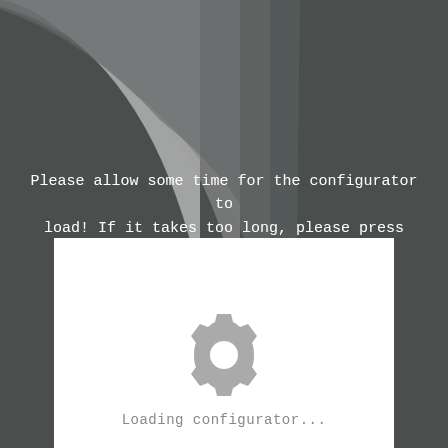[Figure (illustration): Dark gray background with decorative curved arc bands in lighter gray tones sweeping from top-left corner]
Please allow some time for the configurator to load! If it takes too long, please press F5!

Thank you for your patience! ☺
[Figure (screenshot): White loading panel with a gray gear/cog icon in the center and 'Loading configurator...' text below it]